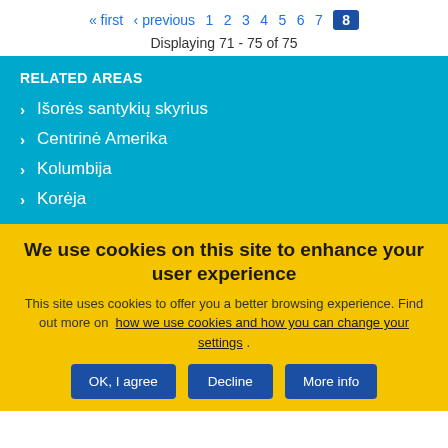« first ‹ previous 1 2 3 4 5 6 7 8
Displaying 71 - 75 of 75
RELATED AREAS
Išorės santykių skyrius
Centrinė Amerika
Kolumbija
Korėja
We use cookies on this site to enhance your user experience
This site uses cookies to offer you a better browsing experience. Find out more on how we use cookies and how you can change your settings .
OK, I agree | Decline | More info